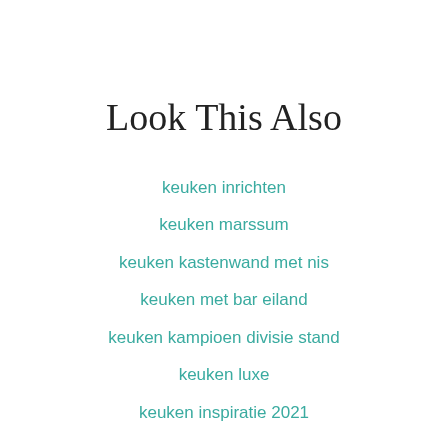Look This Also
keuken inrichten
keuken marssum
keuken kastenwand met nis
keuken met bar eiland
keuken kampioen divisie stand
keuken luxe
keuken inspiratie 2021